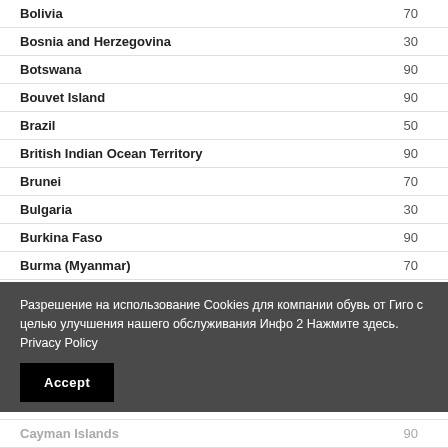| Country | Value |
| --- | --- |
| Bolivia | 70 |
| Bosnia and Herzegovina | 30 |
| Botswana | 90 |
| Bouvet Island | 90 |
| Brazil | 50 |
| British Indian Ocean Territory | 90 |
| Brunei | 70 |
| Bulgaria | 30 |
| Burkina Faso | 90 |
| Burma (Myanmar) | 70 |
| Burundi | 90 |
| Cayman Islands | 90 |
Разрешение на использование Cookies для компании обувь от Гиго с целью улучшения нашего обслуживания Инфо 2 Нажмите здесь. Privacy Policy
Accept